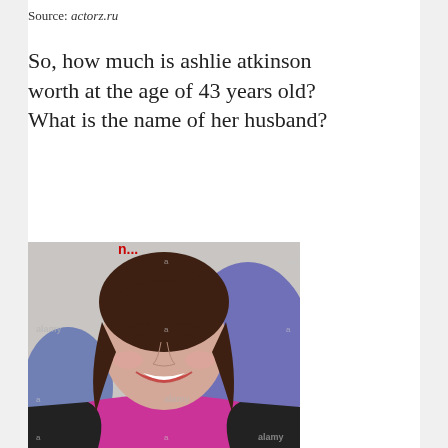Source: actorz.ru
So, how much is ashlie atkinson worth at the age of 43 years old? What is the name of her husband?
[Figure (photo): Photo of Ashlie Atkinson smiling, wearing a magenta/pink top and black jacket with a silver necklace, against a backdrop with Alamy watermarks]